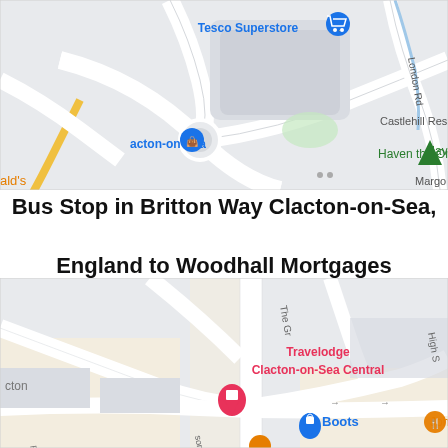[Figure (map): Google Maps screenshot showing area around Tesco Superstore, Clacton-on-Sea, with labels for London Rd, Castlehill Resi, Haven the Orchards, acton-on-Sea, and ald's partial labels visible.]
Bus Stop in Britton Way Clacton-on-Sea, England to Woodhall Mortgages
[Figure (map): Google Maps screenshot showing street-level area with Travelodge Clacton-on-Sea Central, Boots, John's Fish Bar, partial labels for cton, The Gr, High, son Rd, and Rd visible.]